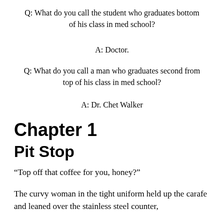Q: What do you call the student who graduates bottom of his class in med school?
A: Doctor.
Q: What do you call a man who graduates second from top of his class in med school?
A: Dr. Chet Walker
Chapter 1
Pit Stop
“Top off that coffee for you, honey?”
The curvy woman in the tight uniform held up the carafe and leaned over the stainless steel counter,